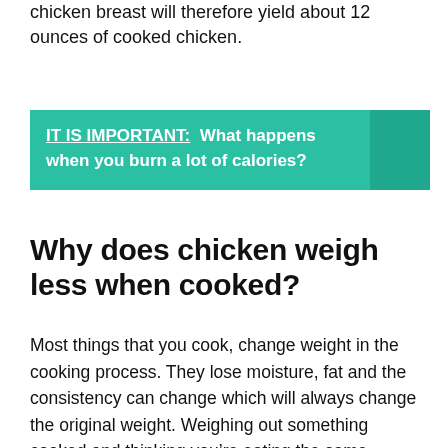chicken breast will therefore yield about 12 ounces of cooked chicken.
IT IS IMPORTANT:  What happens when you burn a lot of calories?
Why does chicken weigh less when cooked?
Most things that you cook, change weight in the cooking process. They lose moisture, fat and the consistency can change which will always change the original weight. Weighing out something cooked and thinking you’re eating the same serving you logged as raw isn’t quite accurate.